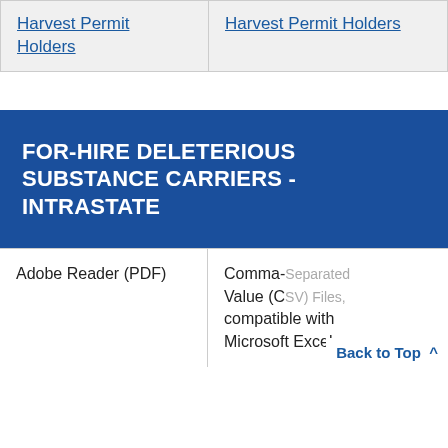| Harvest Permit Holders | Harvest Permit Holders |
FOR-HIRE DELETERIOUS SUBSTANCE CARRIERS - INTRASTATE
| Adobe Reader (PDF) | Comma-Separated Value (CSV) Files, compatible with Microsoft Excel |
Back to Top ^